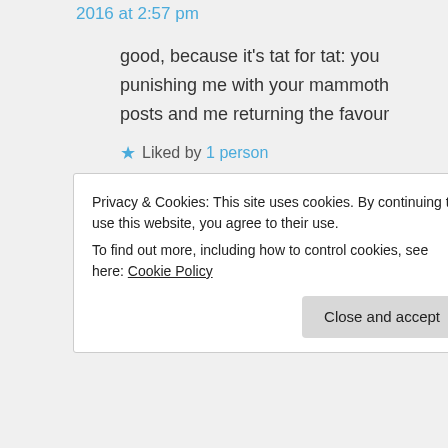2016 at 2:57 pm
good, because it's tat for tat: you punishing me with your mammoth posts and me returning the favour
★ Liked by 1 person
Log in to Reply
Privacy & Cookies: This site uses cookies. By continuing to use this website, you agree to their use.
To find out more, including how to control cookies, see here: Cookie Policy
Close and accept